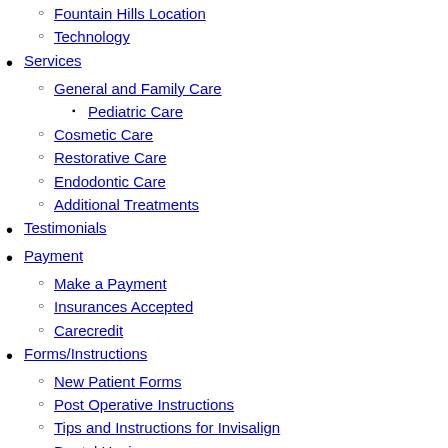Fountain Hills Location
Technology
Services
General and Family Care
Pediatric Care
Cosmetic Care
Restorative Care
Endodontic Care
Additional Treatments
Testimonials
Payment
Make a Payment
Insurances Accepted
Carecredit
Forms/Instructions
New Patient Forms
Post Operative Instructions
Tips and Instructions for Invisalign
Dental Hygiene
Family Dentistry
Blog
All Articles
Dental Implants
Dental Crowns
Tooth Cleaning